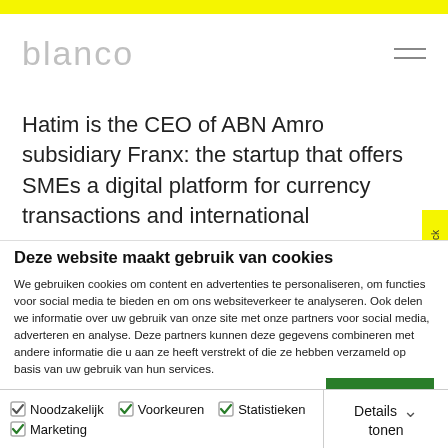blanco
Hatim is the CEO of ABN Amro subsidiary Franx: the startup that offers SMEs a digital platform for currency transactions and international
Deze website maakt gebruik van cookies
We gebruiken cookies om content en advertenties te personaliseren, om functies voor social media te bieden en om ons websiteverkeer te analyseren. Ook delen we informatie over uw gebruik van onze site met onze partners voor social media, adverteren en analyse. Deze partners kunnen deze gegevens combineren met andere informatie die u aan ze heeft verstrekt of die ze hebben verzameld op basis van uw gebruik van hun services.
OK
Noodzakelijk   Voorkeuren   Statistieken   Marketing   Details tonen